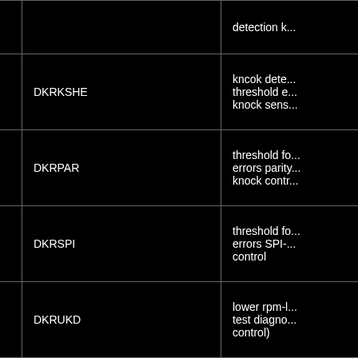|  | Name | Description |
| --- | --- | --- |
|  |  | detection k... |
|  | DKRKSHE | kncok dete... threshold e... knock sens... |
|  | DKRPAR | threshold fo... errors parity... knock contr... |
|  | DKRSPI | threshold fo... errors SPI-... control |
|  | DKRUKD | lower rpm-l... test diagno... control) |
|  | DLABTSZW | Delta-lambe... component... due to ignit... retardation... with |